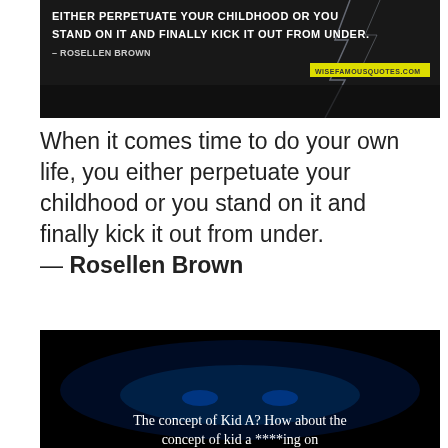[Figure (photo): Dark atmospheric image with white bold uppercase text reading: 'EITHER PERPETUATE YOUR CHILDHOOD OR YOU STAND ON IT AND FINALLY KICK IT OUT FROM UNDER.' attribution '–ROSELLEN BROWN' and a yellow watermark 'WISEFAMOUSQUOTES.COM']
When it comes time to do your own life, you either perpetuate your childhood or you stand on it and finally kick it out from under. — Rosellen Brown
[Figure (photo): Dark blue/black atmospheric image with white text reading: 'The concept of Kid A? How about the concept of kid a ****ing on']